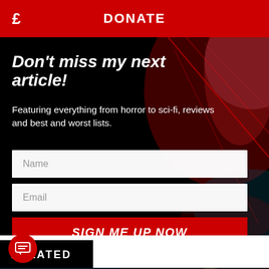£   DONATE
Don't miss my next article!
Featuring everything from horror to sci-fi, reviews and best and worst lists.
Name
Email
SIGN ME UP NOW
RELATED